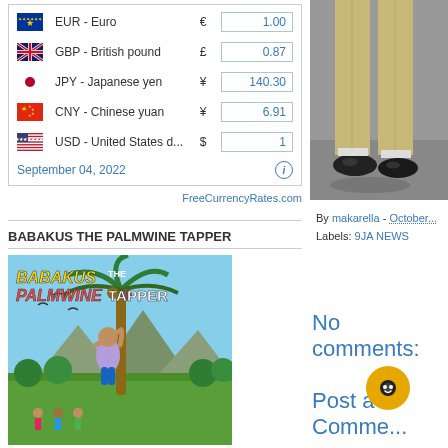| Flag | Currency | Symbol | Value |
| --- | --- | --- | --- |
| EUR flag | EUR - Euro | € | 1.00 |
| GBP flag | GBP - British pound | £ | 0.87 |
| JPY flag | JPY - Japanese yen | ¥ | 140.30 |
| CNY flag | CNY - Chinese yuan | ¥ | 6.91 |
| USD flag | USD - United States d... | $ | 1 |
September 04, 2022
FreeCurrencyRates.com
[Figure (photo): Cropped photo showing legs and shoes of a person in khaki pants and black shoes on pavement]
BABAKUS THE PALMWINE TAPPER
[Figure (illustration): Book cover illustration for 'Babakus the Palmwine Tapper' showing a person climbing a palm tree with a tropical background]
By makarella - October...
Labels: 9JA NEWS
No comments:
Post a Comme...